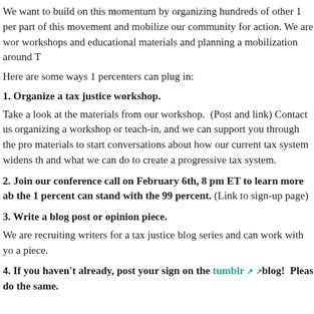We want to build on this momentum by organizing hundreds of other 1 per part of this movement and mobilize our community for action. We are wor workshops and educational materials and planning a mobilization around T
Here are some ways 1 percenters can plug in:
1. Organize a tax justice workshop.
Take a look at the materials from our workshop.  (Post and link) Contact us organizing a workshop or teach-in, and we can support you through the pro materials to start conversations about how our current tax system widens th and what we can do to create a progressive tax system.
2. Join our conference call on February 6th, 8 pm ET to learn more about the 1 percent can stand with the 99 percent. (Link to sign-up page)
3. Write a blog post or opinion piece.
We are recruiting writers for a tax justice blog series and can work with yo a piece.
4. If you haven't already, post your sign on the tumblr blog!  Pleas do the same.